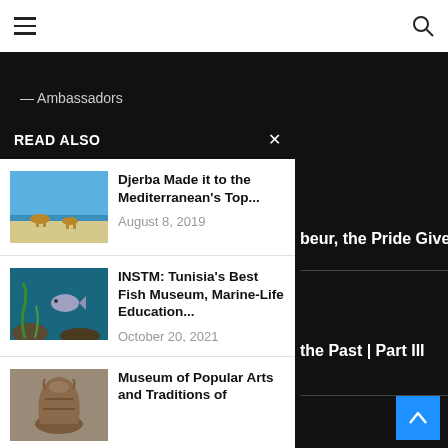Navigation header with hamburger menu and search icon
— Ambassadors
READ ALSO
[Figure (photo): Beach scene with camels and people on white sand, blue sky]
Djerba Made it to the Mediterranean's Top...
August 8, 2019
[Figure (photo): Underwater scene with fish and marine life]
INSTM: Tunisia's Best Fish Museum, Marine-Life Education...
October 20, 2021
[Figure (photo): Traditional arts and crafts pottery artifact]
Museum of Popular Arts and Traditions of
beur, the Pride Giver
the Past | Part III